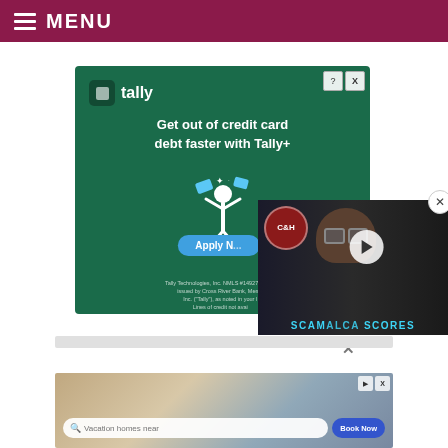☰ MENU
[Figure (screenshot): Tally advertisement: green background, tally logo, headline 'Get out of credit card debt faster with Tally+', animated figure, Apply Now button, fine print about Tally Technologies NMLS #1492782]
[Figure (screenshot): Video overlay showing C&H logo, a man with glasses, play button, and 'SCAMALCA SCORES' text caption with X close button]
[Figure (screenshot): Vacation homes advertisement with search bar showing 'Vacation homes near' and 'Book Now' button]